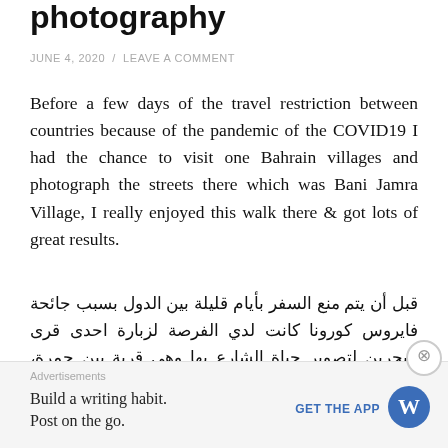photography
JUNE 4, 2020 / LEAVE A COMMENT
Before a few days of the travel restriction between countries because of the pandemic of the COVID19 I had the chance to visit one Bahrain villages and photograph the streets there which was Bani Jamra Village, I really enjoyed this walk there & got lots of great results.
قبل أن يتم منع السفر بأيام قليلة بين الدول بسبب جائحة فايروس كورونا كانت لدي الفرصة لزبارة احدى قرى البحرين لتصوير حياة الشارع بها وهي قرية بين جمرة، استمتعت جداً بهذه الجولة وحصلت على الكثير من النتائج.
Advertisements
Build a writing habit.
Post on the go.
GET THE APP